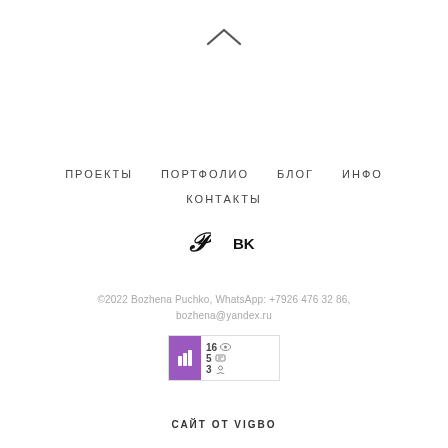[Figure (other): Up chevron arrow navigation icon]
ПРОЕКТЫ   ПОРТФОЛИО   БЛОГ   ИНФО
КОНТАКТЫ
[Figure (other): Pinterest and VK social media icons]
©2022 Bozhena Puchko, WhatsApp: +7926 476 32 86, bozhena@yandex.ru
[Figure (other): Liveinternet counter/statistics widget showing 16 views, 5 entries, 3 visitors]
САЙТ ОТ VIGBO